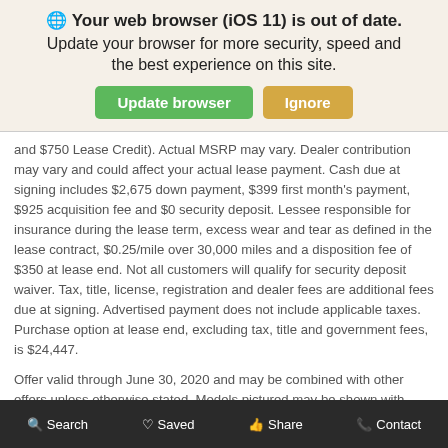[Figure (screenshot): Browser update notification banner with globe icon, bold title 'Your web browser (iOS 11) is out of date.', subtitle 'Update your browser for more security, speed and the best experience on this site.', and two buttons: green 'Update browser' and tan 'Ignore'.]
and $750 Lease Credit). Actual MSRP may vary. Dealer contribution may vary and could affect your actual lease payment. Cash due at signing includes $2,675 down payment, $399 first month's payment, $925 acquisition fee and $0 security deposit. Lessee responsible for insurance during the lease term, excess wear and tear as defined in the lease contract, $0.25/mile over 30,000 miles and a disposition fee of $350 at lease end. Not all customers will qualify for security deposit waiver. Tax, title, license, registration and dealer fees are additional fees due at signing. Advertised payment does not include applicable taxes. Purchase option at lease end, excluding tax, title and government fees, is $24,447.
Offer valid through June 30, 2020 and may be combined with other offers unless otherwise stated. Models pictured may be shown with metallic paint and/or additional accessories. Visit your authorized
Search   Saved   Share   Contact